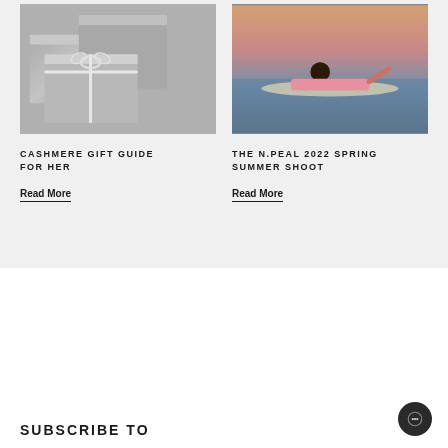[Figure (photo): Gray gift boxes with white ribbon bows stacked, N.Peal branding]
[Figure (photo): Woman in pink swimsuit lying on paddleboard on calm water at sunset]
CASHMERE GIFT GUIDE FOR HER
Read More
THE N.PEAL 2022 SPRING SUMMER SHOOT
Read More
SUBSCRIBE TO